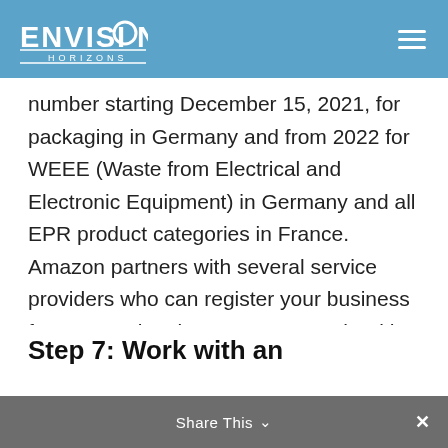ENVISION HORIZONS
number starting December 15, 2021, for packaging in Germany and from 2022 for WEEE (Waste from Electrical and Electronic Equipment) in Germany and all EPR product categories in France. Amazon partners with several service providers who can register your business for EPR and make sure you comply with the requirements on an ongoing basis.
Step 7: Work with an Experienced Custom...
Share This ∨  ×